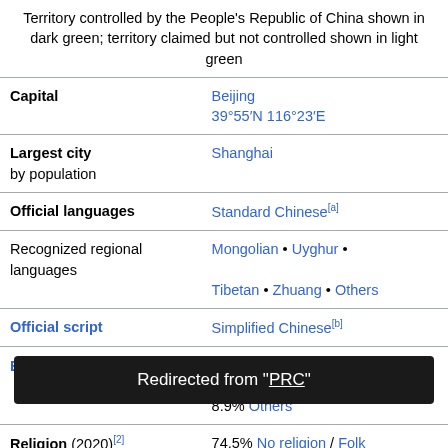| (image) | Territory controlled by the People's Republic of China shown in dark green; territory claimed but not controlled shown in light green |
| Capital | Beijing
39°55′N 116°23′E |
| Largest city
by population | Shanghai |
| Official languages | Standard Chinese[a] |
| Recognized regional languages | Mongolian • Uyghur •
Tibetan • Zhuang • Others |
| Official script | Simplified Chinese[b] |
| Ethnic groups (2020)[1] | 91.1% Han Chinese
8.9% Others |
| Religion (2020)[2] | 74.5% No religion / Folk
18.3% Buddhism
1.8% Islam |
Redirected from "PRC"